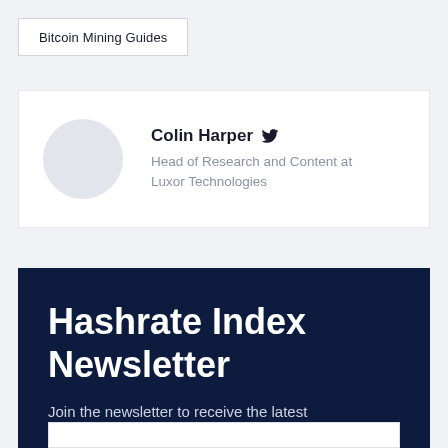Bitcoin Mining Guides
Colin Harper
Head of Research and Content at Luxor Technologies
Hashrate Index Newsletter
Join the newsletter to receive the latest updates in your inbox.